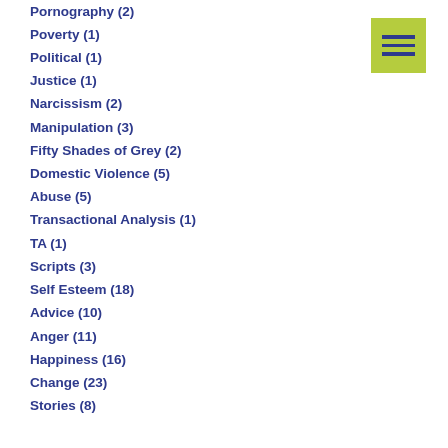Pornography (2)
Poverty (1)
Political (1)
Justice (1)
Narcissism (2)
Manipulation (3)
Fifty Shades of Grey (2)
Domestic Violence (5)
Abuse (5)
Transactional Analysis (1)
TA (1)
Scripts (3)
Self Esteem (18)
Advice (10)
Anger (11)
Happiness (16)
Change (23)
Stories (8)
[Figure (illustration): Green square icon with three horizontal dark blue lines, resembling a menu/list icon]